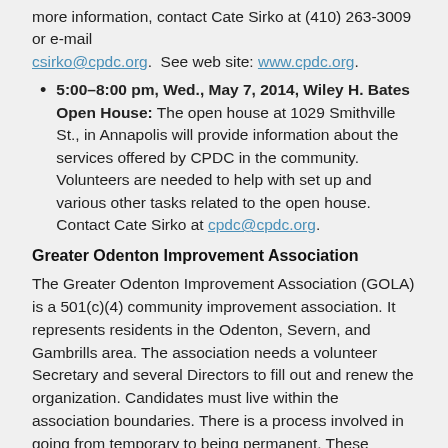more information, contact Cate Sirko at (410) 263-3009 or e-mail csirko@cpdc.org.  See web site: www.cpdc.org.
5:00–8:00 pm, Wed., May 7, 2014, Wiley H. Bates Open House: The open house at 1029 Smithville St., in Annapolis will provide information about the services offered by CPDC in the community. Volunteers are needed to help with set up and various other tasks related to the open house. Contact Cate Sirko at cpdc@cpdc.org.
Greater Odenton Improvement Association
The Greater Odenton Improvement Association (GOLA) is a 501(c)(4) community improvement association. It represents residents in the Odenton, Severn, and Gambrills area. The association needs a volunteer Secretary and several Directors to fill out and renew the organization. Candidates must live within the association boundaries. There is a process involved in going from temporary to being permanent. These positions are permanent, subject to re-election members of the GOIA Board.